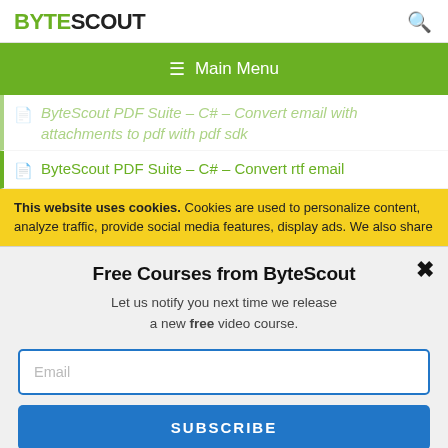BYTESCOUT
≡ Main Menu
ByteScout PDF Suite – C# – Convert email with attachments to pdf with pdf sdk
ByteScout PDF Suite – C# – Convert rtf email
This website uses cookies. Cookies are used to personalize content, analyze traffic, provide social media features, display ads. We also share
Free Courses from ByteScout
Let us notify you next time we release a new free video course.
Email
SUBSCRIBE